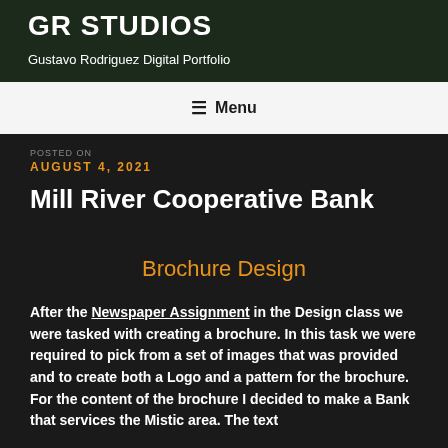GR STUDIOS
Gustavo Rodriguez Digital Portfolio
☰ Menu
POSTED ON
AUGUST 4, 2021
Mill River Cooperative Bank
Brochure Design
After the Newspaper Assignment in the Design class we were tasked with creating a brochure. In this task we were required to pick from a set of images that was provided and to create both a Logo and a pattern for the brochure. For the content of the brochure I decided to make a Bank that services the Mistic area. The text